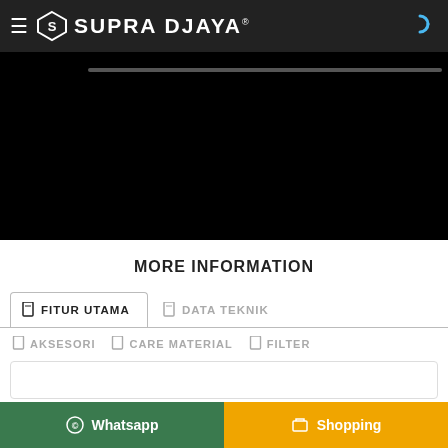SUPRA DJAYA
[Figure (screenshot): Black product image area with a gray horizontal bar near the top]
MORE INFORMATION
FITUR UTAMA (active tab) | DATA TEKNIK
AKSESORI | CARE MATERIAL | FILTER
Whatsapp | Shopping